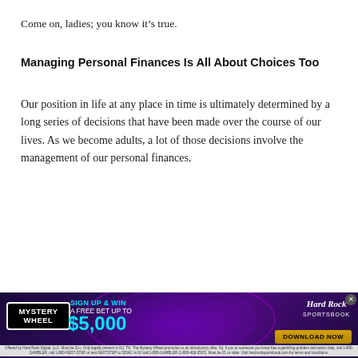Come on, ladies; you know it’s true.
Managing Personal Finances Is All About Choices Too
Our position in life at any place in time is ultimately determined by a long series of decisions that have been made over the course of our lives. As we become adults, a lot of those decisions involve the management of our personal finances.
[Figure (infographic): Hard Rock Sportsbook advertisement banner. Mystery Wheel promotion: SIGN UP & WIN A FREE BET UP TO $5,000. Hard Rock Sportsbook logo and DOWNLOAD NOW button. Fine print disclaimer text at bottom.]